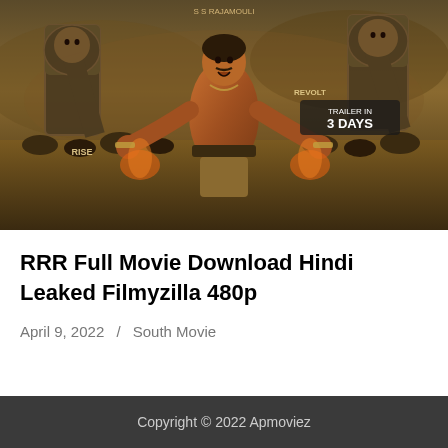[Figure (photo): RRR movie poster showing a muscular shirtless man in warrior stance with large RRR letters in the background, text reading RISE, REVOLT, TRAILER IN 3 DAYS, directed by S S Rajamouli]
RRR Full Movie Download Hindi Leaked Filmyzilla 480p
April 9, 2022 / South Movie
Copyright © 2022 Apmoviez